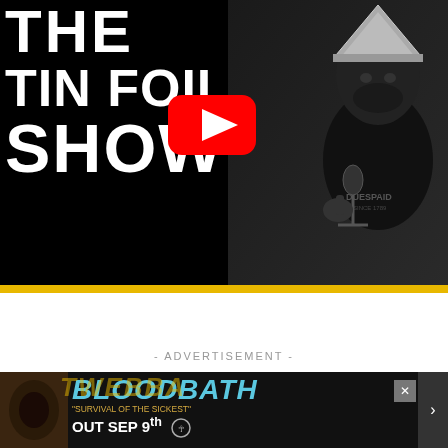[Figure (screenshot): YouTube video thumbnail for 'The Tin Foil Show' featuring a man wearing a tin foil hat sitting at a microphone, with large white bold text on black background reading THE TIN FOIL SHOW, and a YouTube play button overlay]
- ADVERTISEMENT -
[Figure (screenshot): Advertisement banner for Bloodbath album 'Survival of the Sickest' out September 9th, with blue metallic BLOODBATH text on dark background, album artwork on left, and a close button X]